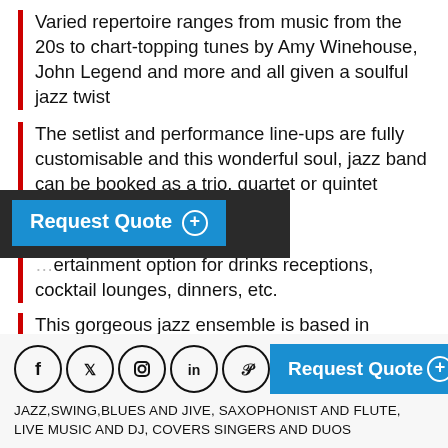Varied repertoire ranges from music from the 20s to chart-topping tunes by Amy Winehouse, John Legend and more and all given a soulful jazz twist
The setlist and performance line-ups are fully customisable and this wonderful soul, jazz band can be booked as a trio, quartet or quintet
[Figure (screenshot): Dark popup overlay with 'Request Quote +' blue button]
...ertainment option for drinks receptions, cocktail lounges, dinners, etc.
This gorgeous jazz ensemble is based in Valencia and available for bookings across Spain and overseas
[Figure (infographic): Social media icons (Facebook, Twitter, Instagram, LinkedIn, Pinterest) and a blue Request Quote + button]
JAZZ,SWING,BLUES AND JIVE, SAXOPHONIST AND FLUTE, LIVE MUSIC AND DJ, COVERS SINGERS AND DUOS